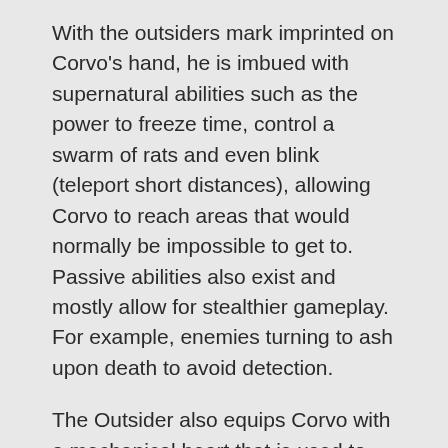With the outsiders mark imprinted on Corvo's hand, he is imbued with supernatural abilities such as the power to freeze time, control a swarm of rats and even blink (teleport short distances), allowing Corvo to reach areas that would normally be impossible to get to. Passive abilities also exist and mostly allow for stealthier gameplay. For example, enemies turning to ash upon death to avoid detection.
The Outsider also equips Corvo with a mechanical heart that is used to find runes and bone charms. Runes are decorated whale bones that are cleverly scattered throughout each area and allow Corvo to purchase and upgrade any one of his abilities. Bone charms, also hidden in the nooks and crannies of each area are